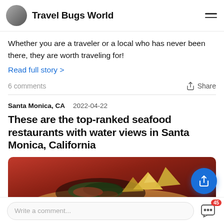Travel Bugs World
Whether you are a traveler or a local who has never been there, they are worth traveling for!
Read full story >
6 comments   Share
Santa Monica, CA   2022-04-22
These are the top-ranked seafood restaurants with water views in Santa Monica, California
[Figure (photo): Food plate image showing seafood dish with chips/nachos on a wooden board, red background]
Write a comment...